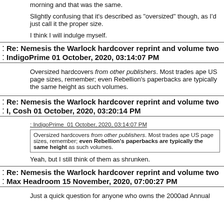morning and that was the same.
Slightly confusing that it's described as "oversized" though, as I'd just call it the proper size.
I think I will indulge myself.
Re: Nemesis the Warlock hardcover reprint and volume two
IndigoPrime 01 October, 2020, 03:14:07 PM
Oversized hardcovers from other publishers. Most trades ape US page sizes, remember; even Rebellion's paperbacks are typically the same height as such volumes.
Re: Nemesis the Warlock hardcover reprint and volume two
I, Cosh 01 October, 2020, 03:20:14 PM
: IndigoPrime  01 October, 2020, 03:14:07 PM
Oversized hardcovers from other publishers. Most trades ape US page sizes, remember; even Rebellion's paperbacks are typically the same height as such volumes.
Yeah, but I still think of them as shrunken.
Re: Nemesis the Warlock hardcover reprint and volume two
Max Headroom 15 November, 2020, 07:00:27 PM
Just a quick question for anyone who owns the 2000ad Annual